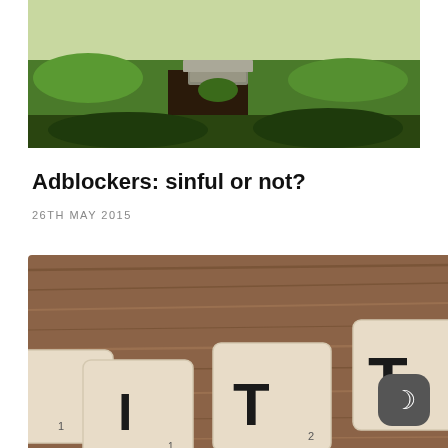[Figure (photo): Partial garden/nature photo showing green grass and stone steps, cropped at top]
Adblockers: sinful or not?
26TH MAY 2015
[Figure (photo): Close-up photo of Scrabble tiles spelling letters I, T, T on a wooden table surface, with a dark night-mode toggle button in the lower right corner]